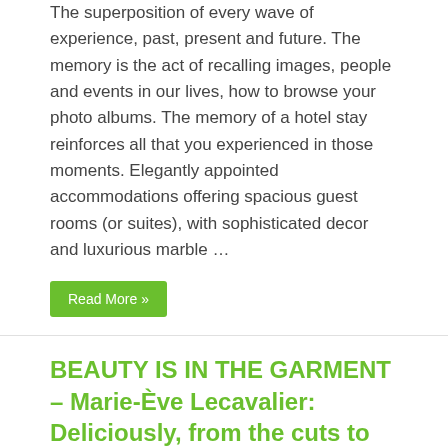The superposition of every wave of experience, past, present and future. The memory is the act of recalling images, people and events in our lives, how to browse your photo albums. The memory of a hotel stay reinforces all that you experienced in those moments. Elegantly appointed accommodations offering spacious guest rooms (or suites), with sophisticated decor and luxurious marble …
Read More »
BEAUTY IS IN THE GARMENT – Marie-Ève Lecavalier: Deliciously, from the cuts to the finishings
31 August 2019   0
[Figure (photo): Black and white sketch/photo of a fashion figure in white garment standing near dark background]